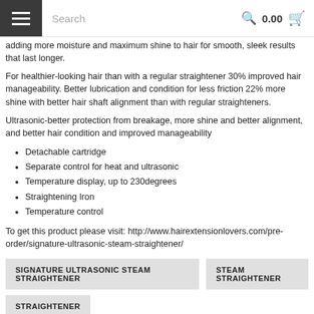Search  0.00
adding more moisture and maximum shine to hair for smooth, sleek results that last longer.
For healthier-looking hair than with a regular straightener 30% improved hair manageability. Better lubrication and condition for less friction 22% more shine with better hair shaft alignment than with regular straighteners.
Ultrasonic-better protection from breakage, more shine and better alignment, and better hair condition and improved manageability
Detachable cartridge
Separate control for heat and ultrasonic
Temperature display, up to 230degrees
Straightening Iron
Temperature control
To get this product please visit: http://www.hairextensionlovers.com/pre-order/signature-ultrasonic-steam-straightener/
SIGNATURE ULTRASONIC STEAM STRAIGHTENER
STEAM STRAIGHTENER
STRAIGHTENER